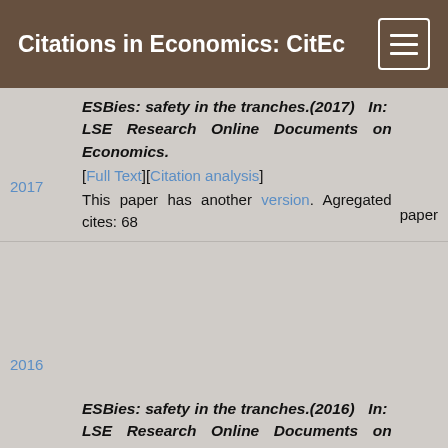Citations in Economics: CitEc
ESBies: safety in the tranches.(2017) In: LSE Research Online Documents on Economics. [Full Text][Citation analysis] This paper has another version. Agregated cites: 68
ESBies: safety in the tranches.(2016) In: LSE Research Online Documents on Economics. [Full Text][Citation analysis] This paper has another version. Agregated cites: 68
ESBies - Safety in the tranches.(2016) In: EIEF Working Papers Series. [Full Text][Citation analysis] This paper has another